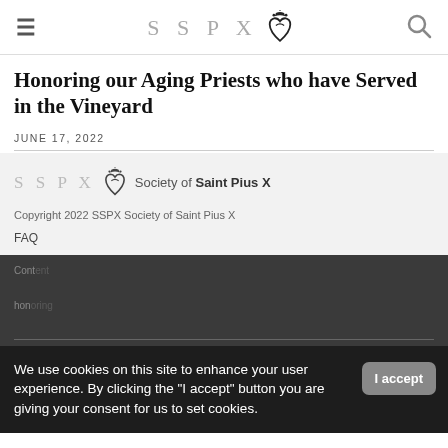SSPX — Society of Saint Pius X navigation header
Honoring our Aging Priests who have Served in the Vineyard
JUNE 17, 2022
[Figure (logo): SSPX Society of Saint Pius X logo with heart crown icon and letter spacing]
Copyright 2022 SSPX Society of Saint Pius X
FAQ
We use cookies on this site to enhance your user experience. By clicking the "I accept" button you are giving your consent for us to set cookies.